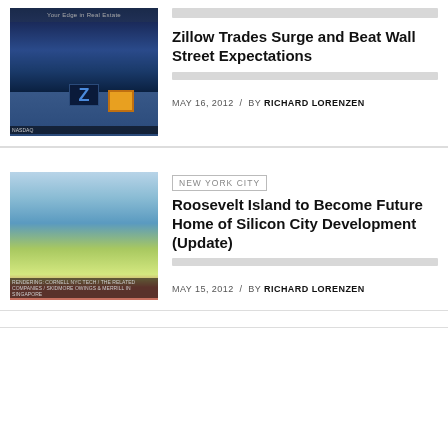[Figure (photo): Photo of people at NASDAQ trading floor or bell ringing ceremony, with Zillow Z logo visible and yellow square icon]
Zillow Trades Surge and Beat Wall Street Expectations
MAY 16, 2012  /  BY RICHARD LORENZEN
[Figure (photo): Architectural rendering of Roosevelt Island Silicon City development showing interior atrium with green spaces and people]
NEW YORK CITY
Roosevelt Island to Become Future Home of Silicon City Development (Update)
MAY 15, 2012  /  BY RICHARD LORENZEN